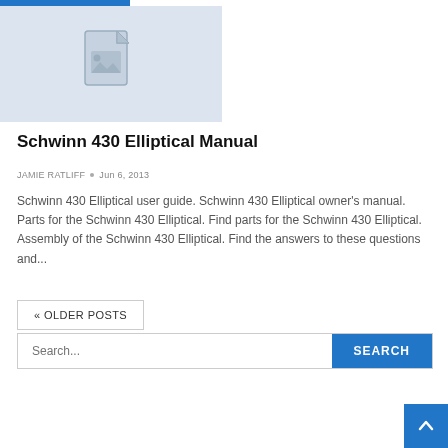[Figure (illustration): Placeholder image thumbnail with a grey document/image icon on a light blue-grey background]
Schwinn 430 Elliptical Manual
JAMIE RATLIFF • Jun 6, 2013
Schwinn 430 Elliptical user guide. Schwinn 430 Elliptical owner's manual. Parts for the Schwinn 430 Elliptical. Find parts for the Schwinn 430 Elliptical. Assembly of the Schwinn 430 Elliptical. Find the answers to these questions and...
« OLDER POSTS